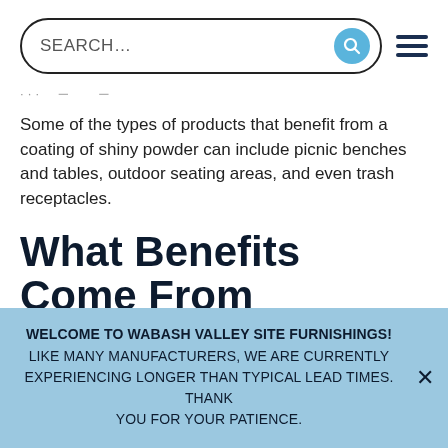SEARCH…
Some of the types of products that benefit from a coating of shiny powder can include picnic benches and tables, outdoor seating areas, and even trash receptacles.
What Benefits Come From Choosing Powder Coating?
When you're weighing your powder coating options, consider the following advantages:
WELCOME TO WABASH VALLEY SITE FURNISHINGS! LIKE MANY MANUFACTURERS, WE ARE CURRENTLY EXPERIENCING LONGER THAN TYPICAL LEAD TIMES. THANK YOU FOR YOUR PATIENCE.